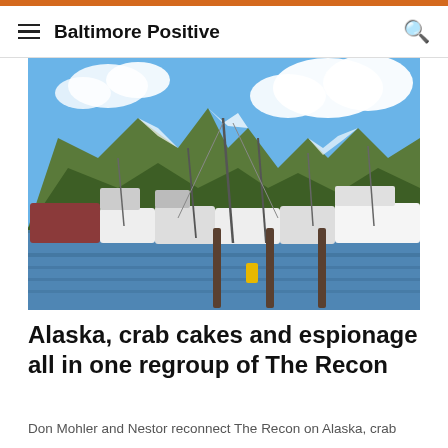Baltimore Positive
[Figure (photo): A marina/harbor scene with many boats and yachts docked, mountains with snow-capped peaks in the background, and a blue sky with white clouds. A sailboat mast is prominent in the center. Location appears to be Alaska.]
Alaska, crab cakes and espionage all in one regroup of The Recon
Don Mohler and Nestor reconnect The Recon on Alaska, crab